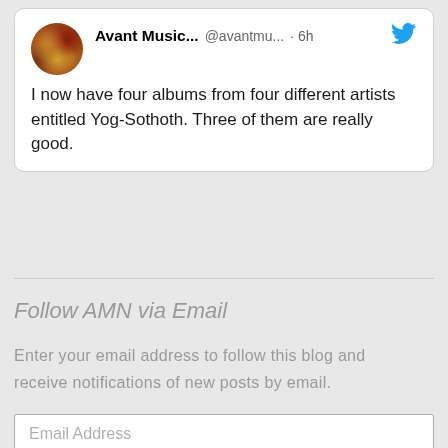[Figure (screenshot): Tweet from Avant Music... (@avantmu...) posted 6h ago with Twitter bird icon. Text: 'I now have four albums from four different artists entitled Yog-Sothoth. Three of them are really good.']
Follow AMN via Email
Enter your email address to follow this blog and receive notifications of new posts by email.
Email Address
Follow